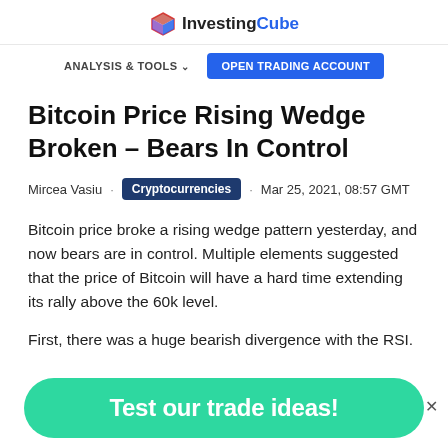InvestingCube
ANALYSIS & TOOLS  OPEN TRADING ACCOUNT
Bitcoin Price Rising Wedge Broken – Bears In Control
Mircea Vasiu · Cryptocurrencies · Mar 25, 2021, 08:57 GMT
Bitcoin price broke a rising wedge pattern yesterday, and now bears are in control. Multiple elements suggested that the price of Bitcoin will have a hard time extending its rally above the 60k level.
First, there was a huge bearish divergence with the RSI.
Test our trade ideas!